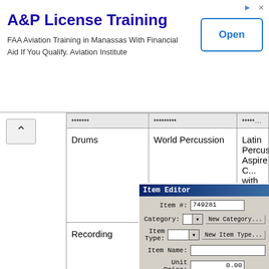[Figure (screenshot): Advertisement banner for A&P License Training - FAA Aviation Training in Manassas With Financial Aid If You Qualify. Aviation Institute. With an Open button.]
|  | Synthesizers | Product Name (cut off) |
| --- | --- | --- |
| Drums | World Percussion | Latin Percussion Aspire C... with Bongos and Stand |
| Recording | Microphone | AKG Perception 200 Con... Microphone |
[Figure (screenshot): Item Editor dialog with fields: Item # (749281), Category (dropdown, empty), Item Type (dropdown, empty), Item Name (text, empty), Unit Price (0.00), Picture button and field.]